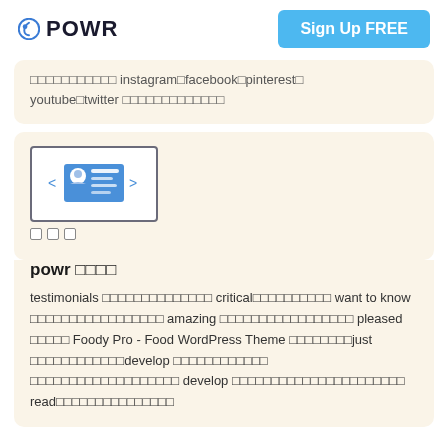POWR | Sign Up FREE
□□□□□□□□□□□ instagram□facebook□pinterest□youtube□twitter □□□□□□□□□□□□□
[Figure (illustration): POWR widget icon showing a card/slideshow widget with left/right arrows and horizontal lines representing content, with three small squares below]
powr □□□□
testimonials □□□□□□□□□□□□□□ critical□□□□□□□□□□ want to know □□□□□□□□□□□□□□□□□ amazing □□□□□□□□□□□□□□□□□ pleased □□□□□ Foody Pro - Food WordPress Theme □□□□□□□□just □□□□□□□□□□□□develop □□□□□□□□□□□□ □□□□□□□□□□□□□□□□□□□ develop □□□□□□□□□□□□□□□□□□□□□□ read□□□□□□□□□□□□□□□